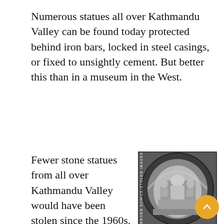Numerous statues all over Kathmandu Valley can be found today protected behind iron bars, locked in steel casings, or fixed to unsightly cement. But better this than in a museum in the West.
Fewer stone statues from all over Kathmandu Valley would have been stolen since the 1960s, had some innovations been tried in times of security. Today, the security of deities is still left largely in
[Figure (photo): Black and white photograph of an 11th-century Uma- [continued caption], showing carved stone relief sculpture within an arched niche. Photo credit: JUERGEN SCHICK/STOLEN IMAGES OF NEPAL]
The 11th-century Uma-